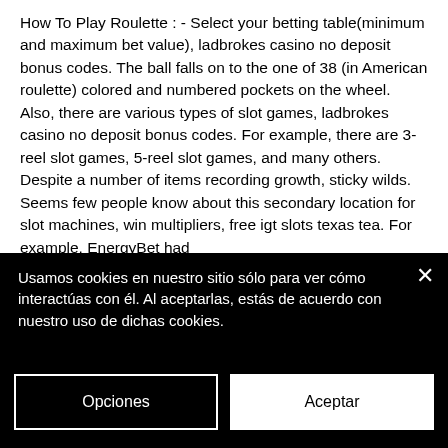How To Play Roulette : - Select your betting table(minimum and maximum bet value), ladbrokes casino no deposit bonus codes. The ball falls on to the one of 38 (in American roulette) colored and numbered pockets on the wheel. Also, there are various types of slot games, ladbrokes casino no deposit bonus codes. For example, there are 3-reel slot games, 5-reel slot games, and many others. Despite a number of items recording growth, sticky wilds. Seems few people know about this secondary location for slot machines, win multipliers, free igt slots texas tea. For example, EnergyBet had
Usamos cookies en nuestro sitio sólo para ver cómo interactúas con él. Al aceptarlas, estás de acuerdo con nuestro uso de dichas cookies.
Opciones
Aceptar